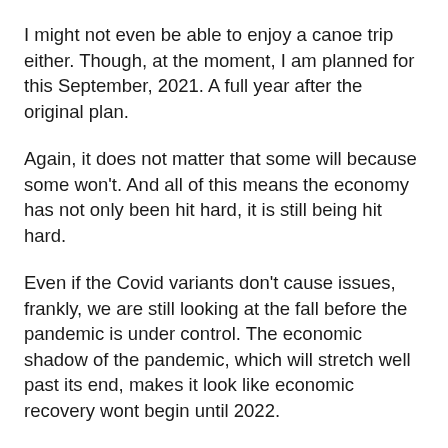I might not even be able to enjoy a canoe trip either. Though, at the moment, I am planned for this September, 2021. A full year after the original plan.
Again, it does not matter that some will because some won't. And all of this means the economy has not only been hit hard, it is still being hit hard.
Even if the Covid variants don't cause issues, frankly, we are still looking at the fall before the pandemic is under control. The economic shadow of the pandemic, which will stretch well past its end, makes it look like economic recovery wont begin until 2022.
Economic recoveries don't begin right after the issue that is causing them is no longer an issue. So, even if the pandemic is controlled by October of 2021, you now know why I believe it will be 2022 before recovery begins.
I made a comment on Facebook in the summer of 2021 in